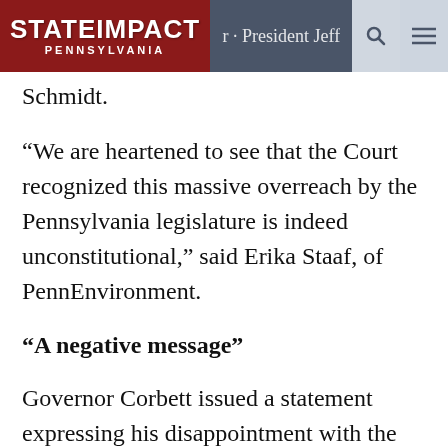StateImpact Pennsylvania | President Jeff Schmidt.
“We are heartened to see that the Court recognized this massive overreach by the Pennsylvania legislature is indeed unconstitutional,” said Erika Staaf, of PennEnvironment.
“A negative message”
Governor Corbett issued a statement expressing his disappointment with the